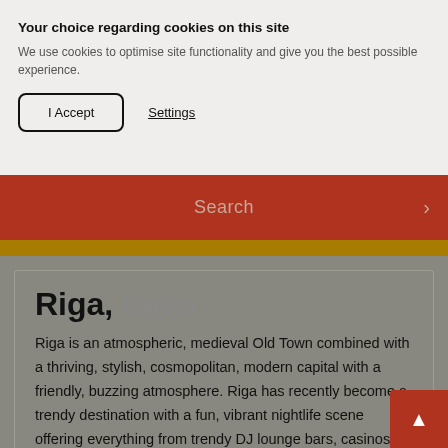Your choice regarding cookies on this site
We use cookies to optimise site functionality and give you the best possible experience.
I Accept
Settings
Search
Riga, Latvia
Riga is an atmospheric, medieval Old Town combined with a thriving, stylish, cosmopolitan, modern capital with a friendly, buzzing atmosphere. Riga has recently become a trendy destination with a fun, vibrant nightlife scene offering everything from trendy DJ lounge bars, casinos and discos, to